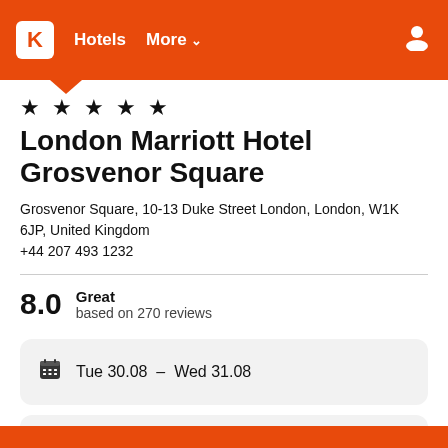K Hotels More
★ ★ ★ ★ ★
London Marriott Hotel Grosvenor Square
Grosvenor Square, 10-13 Duke Street London, London, W1K 6JP, United Kingdom
+44 207 493 1232
8.0 Great based on 270 reviews
Tue 30.08 – Wed 31.08
1 room, 2 guests